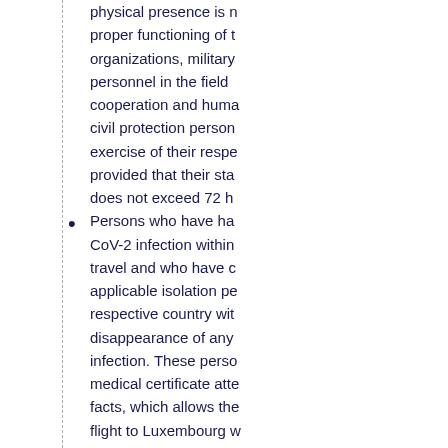physical presence is necessary for the proper functioning of these organizations, military personnel in the field of development cooperation and humanitarian aid, and civil protection personnel during the exercise of their respective missions, provided that their stay in Luxembourg does not exceed 72 h
Persons who have had a SARS-CoV-2 infection within the 6 months prior travel and who have completed the applicable isolation period in their respective country with the disappearance of any symptoms of infection. These persons must hold a medical certificate attesting to these facts, which allows them to board the flight to Luxembourg without having to undergo a new nucleic acid amplification test of SARS-CoV-2 RNA or of a viral antig